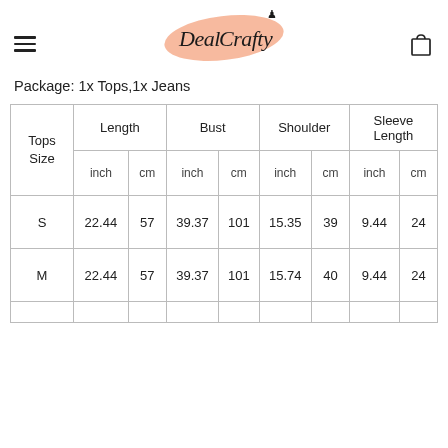DealCrafty
Package: 1x Tops,1x Jeans
| Tops Size | Length inch | Length cm | Bust inch | Bust cm | Shoulder inch | Shoulder cm | Sleeve Length inch | Sleeve Length cm |
| --- | --- | --- | --- | --- | --- | --- | --- | --- |
| S | 22.44 | 57 | 39.37 | 101 | 15.35 | 39 | 9.44 | 24 |
| M | 22.44 | 57 | 39.37 | 101 | 15.74 | 40 | 9.44 | 24 |